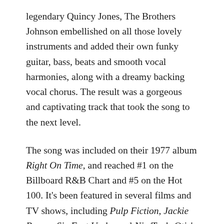legendary Quincy Jones, The Brothers Johnson embellished on all those lovely instruments and added their own funky guitar, bass, beats and smooth vocal harmonies, along with a dreamy backing vocal chorus. The result was a gorgeous and captivating track that took the song to the next level.
The song was included on their 1977 album Right On Time, and reached #1 on the Billboard R&B Chart and #5 on the Hot 100. It's been featured in several films and TV shows, including Pulp Fiction, Jackie Brown, Six Feet Under and Nip/Tuck. Otis' version was featured in the film Munich.
I'd originally wondered why the song was titled